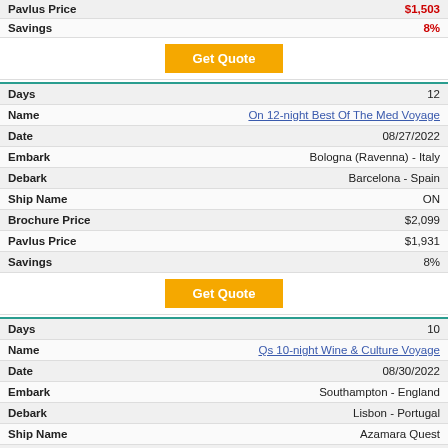| Field | Value |
| --- | --- |
| Pavlus Price | $1,503 |
| Savings | 8% |
| Field | Value |
| --- | --- |
| Days | 12 |
| Name | On 12-night Best Of The Med Voyage |
| Date | 08/27/2022 |
| Embark | Bologna (Ravenna) - Italy |
| Debark | Barcelona - Spain |
| Ship Name | ON |
| Brochure Price | $2,099 |
| Pavlus Price | $1,931 |
| Savings | 8% |
| Field | Value |
| --- | --- |
| Days | 10 |
| Name | Qs 10-night Wine & Culture Voyage |
| Date | 08/30/2022 |
| Embark | Southampton - England |
| Debark | Lisbon - Portugal |
| Ship Name | Azamara Quest |
| Brochure Price | $2,199 |
| Pavlus Price | $2,023 |
| Savings | 8% |